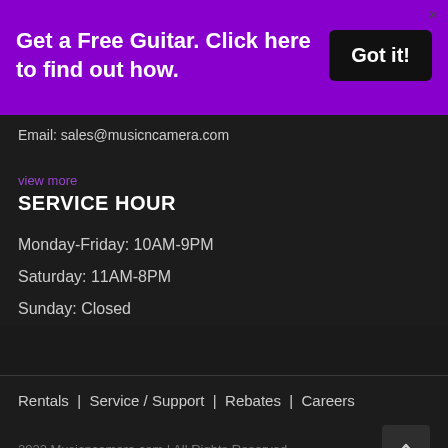Get a Free Guitar. Click here to find out how.
Got it!
Email: sales@musicncamera.com
view more
SERVICE HOUR
Monday-Friday: 10AM-9PM
Saturday: 11AM-8PM
Sunday: Closed
Rentals | Service / Support | Rebates | Careers
2022 Musicncamera.com | All Rights Reserved